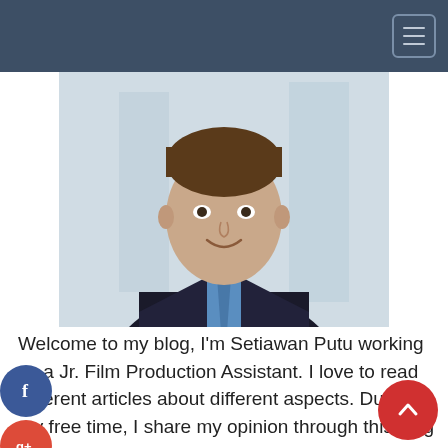Navigation bar with hamburger menu
[Figure (photo): Professional headshot of a man in a dark suit and blue tie, smiling, with a blurred office background]
Welcome to my blog, I'm Setiawan Putu working as a Jr. Film Production Assistant. I love to read different articles about different aspects. During my free time, I share my opinion through this blog site. Keep updated with my views.
Recent Posts
All About Battery Boxes
What are the Differences Between Western